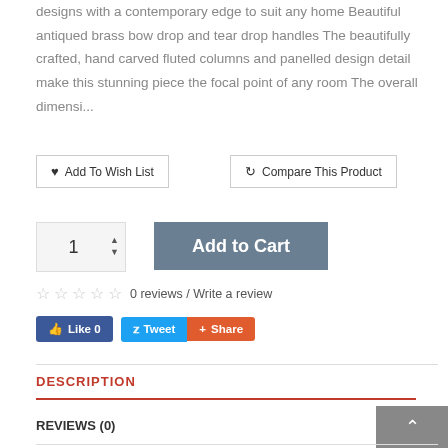designs with a contemporary edge to suit any home Beautiful antiqued brass bow drop and tear drop handles The beautifully crafted, hand carved fluted columns and panelled design detail make this stunning piece the focal point of any room The overall dimensi...
Add To Wish List
Compare This Product
1
Add to Cart
0 reviews / Write a review
Like 0
Tweet
Share
DESCRIPTION
REVIEWS (0)